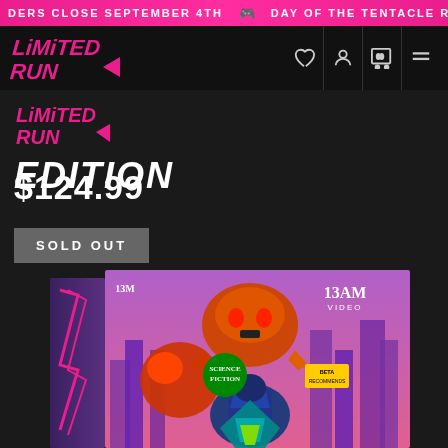ORDERS CLOSE SEPTEMBER 4TH  🎮  DAY OF THE TENTACLE R
[Figure (logo): Limited Run Games logo in pink/magenta stylized text, with 'EDITION' in bold white italic below]
$124.99
SOLD OUT
[Figure (photo): Product box photo showing a VHS-style collector's edition box with animated characters including monsters and a superhero figure, city background, 'SCIENCE FICTION' sticker, '13AM VIDEO' branding, sci-fi/action art]